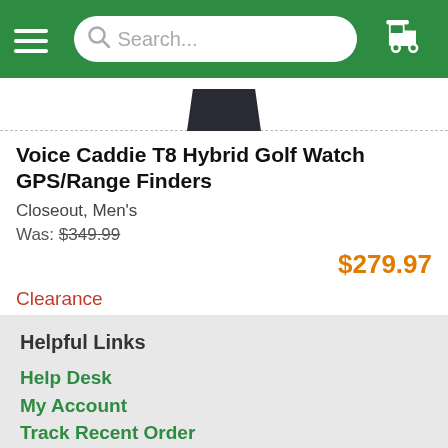[Figure (screenshot): Green navigation bar with hamburger menu icon, search bar with 'Search...' placeholder, and golf cart icon on the right]
[Figure (photo): Partial view of a Voice Caddie T8 Hybrid Golf Watch showing the top portion of the watch in dark color]
Voice Caddie T8 Hybrid Golf Watch GPS/Range Finders
Closeout, Men's
Was: $349.99
$279.97
Clearance
Helpful Links
Help Desk
My Account
Track Recent Order
Shipping Info
Payment Info
Return Info